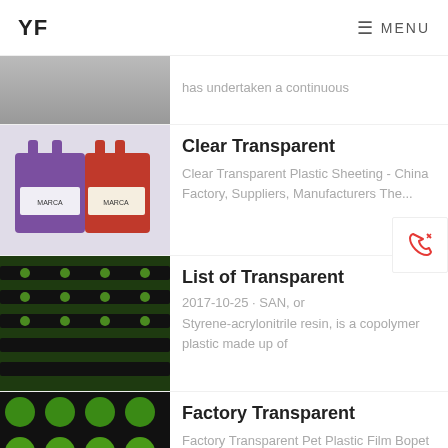YF   MENU
[Figure (photo): Partial view of grey/dark product image at top, cropped]
has undertaken a continuous
[Figure (photo): Purple and red reusable shopping bags with MARCA branding]
Clear Transparent
Clear Transparent Plastic Sheeting - China Factory, Suppliers, Manufacturers The...
[Figure (photo): Agricultural field with black plastic mulch film and rows of small plants]
List of Transparent
2017-10-25 · SAN, or Styrene-acrylonitrile resin, is a copolymer plastic made up of
[Figure (photo): Green leafy plants growing through holes in black plastic sheeting]
Factory Transparent
Factory Transparent Pet Plastic Film Bopet Tape Film